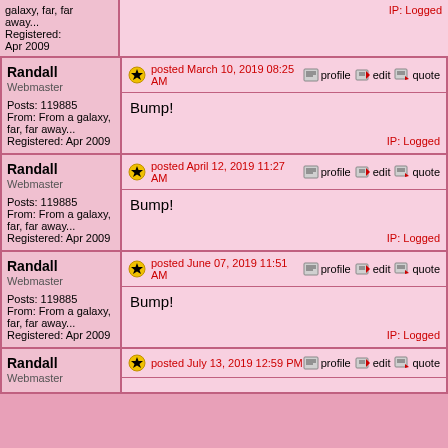galaxy, far, far away... Registered: Apr 2009 | IP: Logged
| User | Post |
| --- | --- |
| Randall
Webmaster
Posts: 119885
From: From a galaxy, far, far away...
Registered: Apr 2009 | posted March 10, 2019 08:25 AM | Bump! | IP: Logged |
| Randall
Webmaster
Posts: 119885
From: From a galaxy, far, far away...
Registered: Apr 2009 | posted April 12, 2019 11:27 AM | Bump! | IP: Logged |
| Randall
Webmaster
Posts: 119885
From: From a galaxy, far, far away...
Registered: Apr 2009 | posted June 07, 2019 11:51 AM | Bump! | IP: Logged |
| Randall
Webmaster | posted July 13, 2019 12:59 PM |